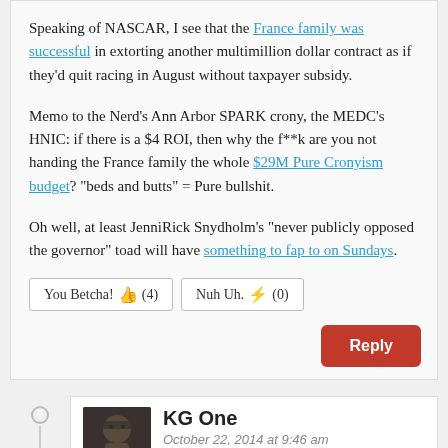Speaking of NASCAR, I see that the France family was successful in extorting another multimillion dollar contract as if they'd quit racing in August without taxpayer subsidy.
Memo to the Nerd's Ann Arbor SPARK crony, the MEDC's HNIC: if there is a $4 ROI, then why the f**k are you not handing the France family the whole $29M Pure Cronyism budget? "beds and butts" = Pure bullshit.
Oh well, at least JenniRick Snydholm's "never publicly opposed the governor" toad will have something to fap to on Sundays.
You Betcha! (4)   Nuh Uh. (0)
Reply
KG One
October 22, 2014 at 9:46 am